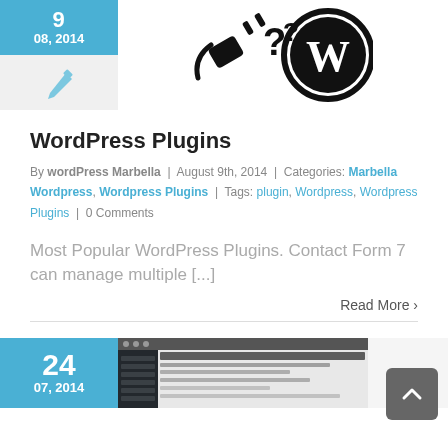[Figure (illustration): Blue date tile showing '9' on top and '08, 2014' below, followed by a light gray tile with a blue pen/edit icon]
[Figure (logo): WordPress logo: plug and W circle mark in black]
WordPress Plugins
By wordPress Marbella | August 9th, 2014 | Categories: Marbella Wordpress, Wordpress Plugins | Tags: plugin, Wordpress, Wordpress Plugins | 0 Comments
Most Popular WordPress Plugins. Contact Form 7 can manage multiple [...]
Read More >
[Figure (illustration): Blue date tile showing '24' and '07, 2014' below, with a screenshot of a WordPress updates admin panel to the right]
[Figure (screenshot): WordPress Updates admin screen screenshot]